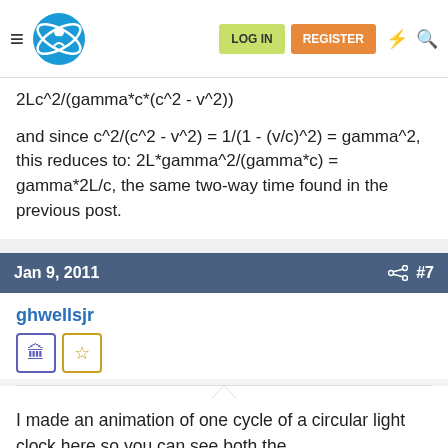Navigation bar with logo, LOG IN, REGISTER buttons
2Lc^2/(gamma*c*(c^2 - v^2))
and since c^2/(c^2 - v^2) = 1/(1 - (v/c)^2) = gamma^2, this reduces to: 2L*gamma^2/(gamma*c) = gamma*2L/c, the same two-way time found in the previous post.
Jan 9, 2011   #7
ghwellsjr
I made an animation of one cycle of a circular light clock here so you can see both the